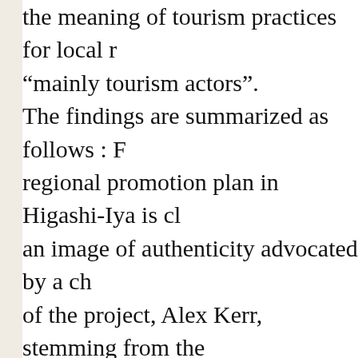the meaning of tourism practices for local r… “mainly tourism actors”. The findings are summarized as follows : F… regional promotion plan in Higashi-Iya is cl… an image of authenticity advocated by a ch… of the project, Alex Kerr, stemming from the… of Higashi-Iya in the early 1970s. Second, t… practices by many local residents are base… feelings toward and sense of daily life and s… than with the tourist gaze in mind. In other w… residents, including active actors, do not ne… directly accommodate themselves to the to… Such a posture by the residents has led to … charm that is characteristic of Higashi-Iya, a… unsophisticated and authentic rural area. It… relationship is advantageous to both the lo…